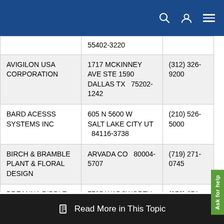Navigation bar with search, user, and menu icons
| Name | Address | Phone |
| --- | --- | --- |
|  | 55402-3220 |  |
| AVIGILON USA CORPORATION | 1717 MCKINNEY AVE STE 1590
DALLAS TX  75202-1242 | (312) 326-9200 |
| BARD ACESSS SYSTEMS INC | 605 N 5600 W
SALT LAKE CITY UT  84116-3738 | (210) 526-5000 |
| BIRCH & BRAMBLE PLANT & FLORAL DESIGN | ARVADA CO  80004-5707 | (719) 271-0745 |
| BREANNA RIBBLE AT | 7705 WADSWORTH BLVD STE 116 | (970) 371- |
Read More in This Topic